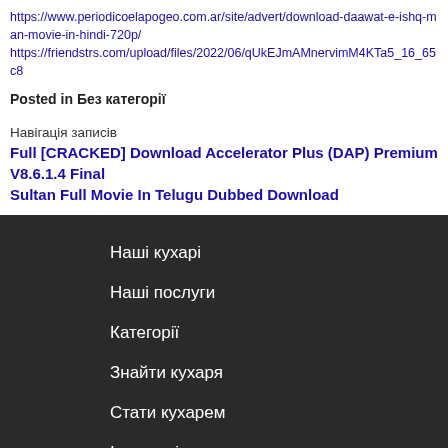https://www.periodicoelapogeo.com.ar/site/advert/download-daawat-e-ishq-man-movie-in-hindi-720p/
https://friendstrs.com/upload/files/2022/06/qUkEJmAMnervimM4KTa5_16_65c8
Posted in Без категорії
Навігація записів
Full [CRACKED] Download Accelerator Plus (DAP) Premium V8.6.1.4 Final
Sultan Full Movie In Telugu Dubbed Download
Наші кухарі
Наші послуги
Категорії
Знайти кухаря
Стати кухарем
Інструкція для кухаря
Варіанти оплати
Політика конфіденційності